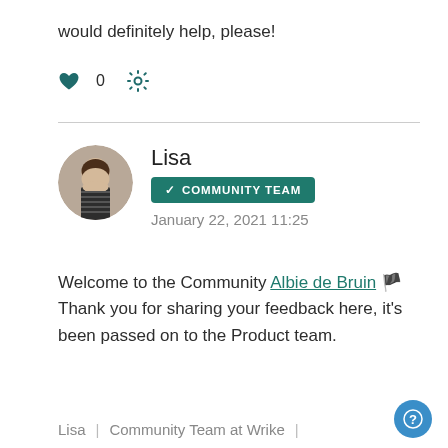would definitely help, please!
♥ 0  ⚙
Lisa
COMMUNITY TEAM
January 22, 2021 11:25
Welcome to the Community Albie de Bruin 🏴 Thank you for sharing your feedback here, it's been passed on to the Product team.
Lisa | Community Team at Wrike |